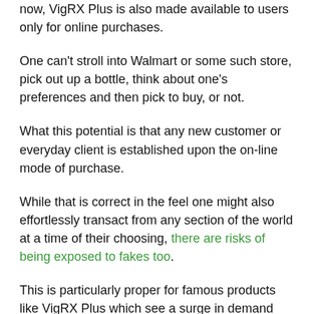now, VigRX Plus is also made available to users only for online purchases.
One can't stroll into Walmart or some such store, pick out up a bottle, think about one's preferences and then pick to buy, or not.
What this potential is that any new customer or everyday client is established upon the on-line mode of purchase.
While that is correct in the feel one might also effortlessly transact from any section of the world at a time of their choosing, there are risks of being exposed to fakes too.
This is particularly proper for famous products like VigRX Plus which see a surge in demand given their effectiveness.